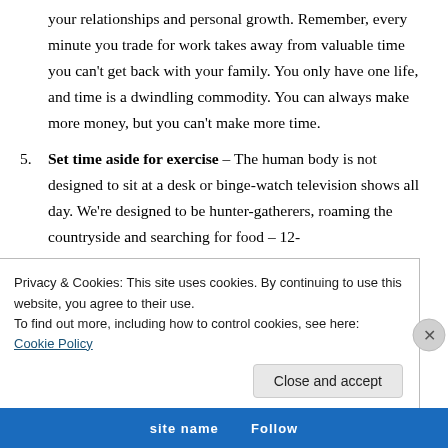your relationships and personal growth. Remember, every minute you trade for work takes away from valuable time you can't get back with your family. You only have one life, and time is a dwindling commodity. You can always make more money, but you can't make more time.
5. Set time aside for exercise – The human body is not designed to sit at a desk or binge-watch television shows all day. We're designed to be hunter-gatherers, roaming the countryside and searching for food – 12-
Privacy & Cookies: This site uses cookies. By continuing to use this website, you agree to their use.
To find out more, including how to control cookies, see here: Cookie Policy